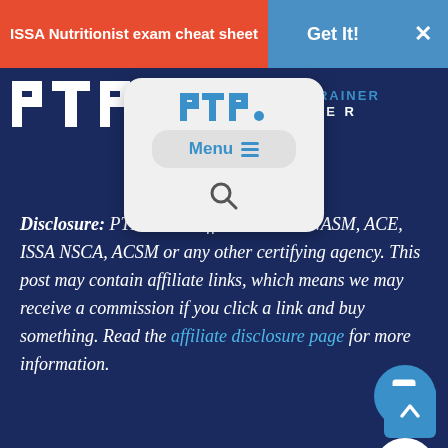ISSA Nutritionist exam cheat sheet | Get It! | X
[Figure (logo): PTP logo and TRAINER text on dark blue background]
[Figure (screenshot): Dropdown overlay with PTP logo, Menu button with hamburger icon, and search icon]
Disclosure: PTP has no affiliation with NASM, ACE, ISSA NSCA, ACSM or any other certifying agency. This post may contain affiliate links, which means we may receive a commission if you click a link and buy something. Read the affiliate disclosure page for more information.